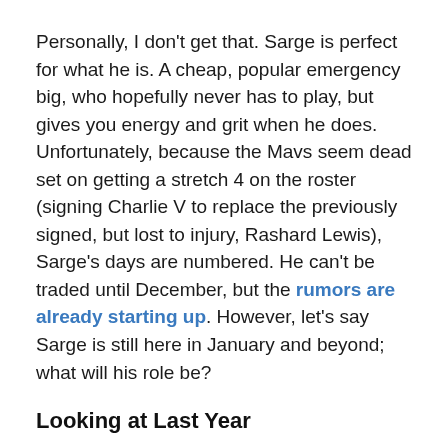Personally, I don't get that. Sarge is perfect for what he is. A cheap, popular emergency big, who hopefully never has to play, but gives you energy and grit when he does. Unfortunately, because the Mavs seem dead set on getting a stretch 4 on the roster (signing Charlie V to replace the previously signed, but lost to injury, Rashard Lewis), Sarge's days are numbered. He can't be traded until December, but the rumors are already starting up. However, let's say Sarge is still here in January and beyond; what will his role be?
Looking at Last Year
In 2013-2014, Sarge played in just 30 games and averaged just under 5 minutes per game. 0.9 ppg, 1.4 rpg, and 0.3 bpg are not exactly eye-popping numbers, but no one expected eye-popping from a second round